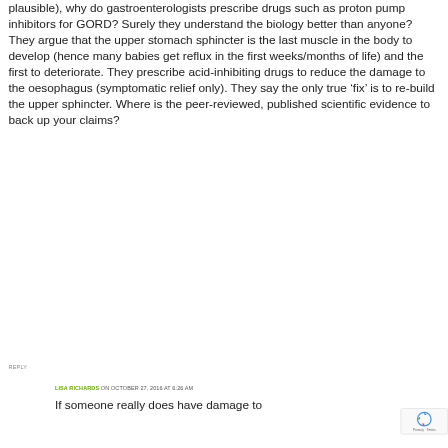plausible), why do gastroenterologists prescribe drugs such as proton pump inhibitors for GORD? Surely they understand the biology better than anyone? They argue that the upper stomach sphincter is the last muscle in the body to develop (hence many babies get reflux in the first weeks/months of life) and the first to deteriorate. They prescribe acid-inhibiting drugs to reduce the damage to the oesophagus (symptomatic relief only). They say the only true ‘fix’ is to re-build the upper sphincter. Where is the peer-reviewed, published scientific evidence to back up your claims?
REPLY
LISA RICHARDS ON OCTOBER 27, 2016 AT 6:26 AM
If someone really does have damage to